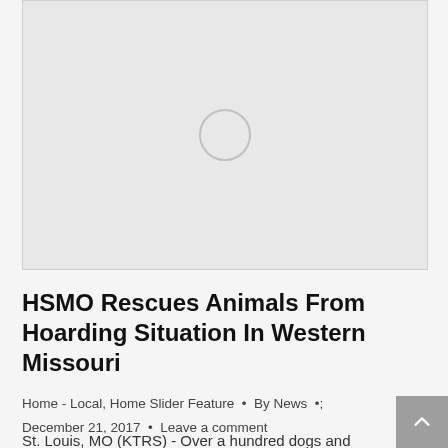[Figure (photo): Loading image placeholder with a circular spinner icon on a light gray background]
HSMO Rescues Animals From Hoarding Situation In Western Missouri
Home - Local, Home Slider Feature · By News · December 21, 2017 · Leave a comment
St. Louis, MO (KTRS) - Over a hundred dogs and